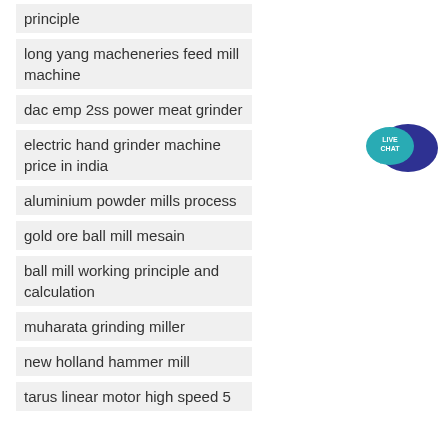principle
long yang macheneries feed mill machine
dac emp 2ss power meat grinder
electric hand grinder machine price in india
aluminium powder mills process
gold ore ball mill mesain
ball mill working principle and calculation
muharata grinding miller
new holland hammer mill
tarus linear motor high speed 5
[Figure (illustration): Live Chat bubble icon with teal and dark blue speech bubbles and 'LIVE CHAT' text]